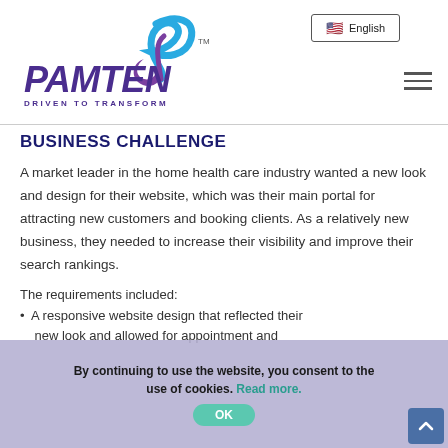[Figure (logo): PamTen logo with butterfly/bird graphic, text PAMTEN in italic purple, tagline DRIVEN TO TRANSFORM]
English
BUSINESS CHALLENGE
A market leader in the home health care industry wanted a new look and design for their website, which was their main portal for attracting new customers and booking clients. As a relatively new business, they needed to increase their visibility and improve their search rankings.
The requirements included:
A responsive website design that reflected their new look and allowed for appointment and